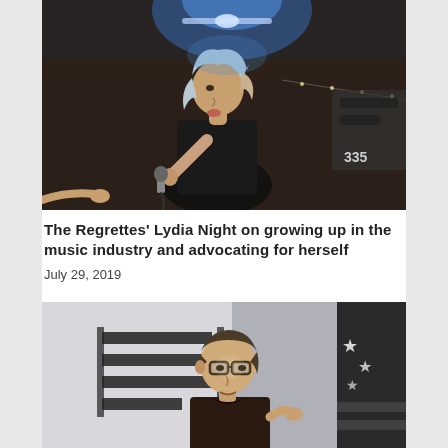[Figure (photo): A young woman with light blue/blonde hair singing into a microphone on a dark stage with blue lighting and string lights in the background. Number 335 visible on a sign.]
The Regrettes' Lydia Night on growing up in the music industry and advocating for herself
July 29, 2019
[Figure (photo): A man with short hair and glasses speaking or presenting, with a backdrop showing horizontal stripes and a star/flag graphic.]